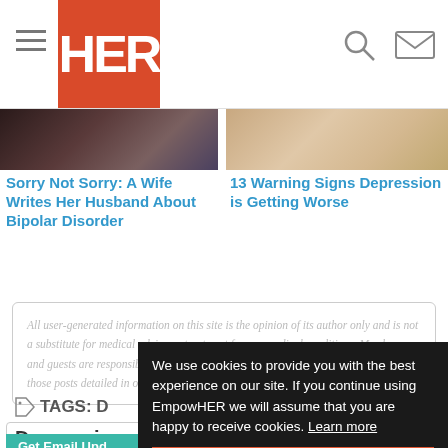HER (EmpowHER website header with hamburger menu, logo, search and mail icons)
[Figure (photo): Partial photo strip showing two article thumbnail images side by side — left shows people in dark tones, right shows a woman with light tones]
Sorry Not Sorry: A Wife Writes Her Husband About Bipolar Disorder
13 Warning Signs Depression is Getting Worse
All user-generated information on this site is the opinion of its author only and is not a substitute for medical advice or treatment for any medical conditions. Members and guests are responsible for their own posts and the potential consequences of those posts detailed in our Terms of Service.
TAGS: D
Depressi
Get Email Upd
We use cookies to provide you with the best experience on our site. If you continue using EmpowHER we will assume that you are happy to receive cookies. Learn more
Got it!